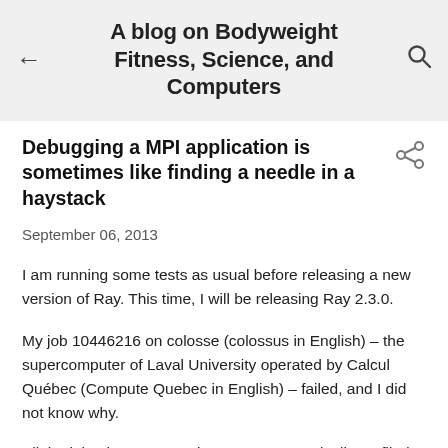A blog on Bodyweight Fitness, Science, and Computers
Debugging a MPI application is sometimes like finding a needle in a haystack
September 06, 2013
I am running some tests as usual before releasing a new version of Ray. This time, I will be releasing Ray 2.3.0.
My job 10446216 on colosse (colossus in English) – the supercomputer of Laval University operated by Calcul Québec (Compute Quebec in English) – failed, and I did not know why.
All the jobs that run on colosse are automatically profiled by